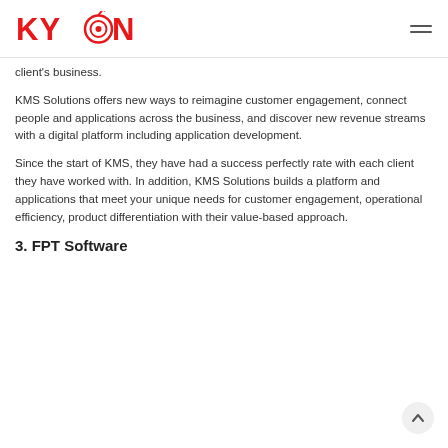KYANON
client's business.
KMS Solutions offers new ways to reimagine customer engagement, connect people and applications across the business, and discover new revenue streams with a digital platform including application development.
Since the start of KMS, they have had a success perfectly rate with each client they have worked with. In addition, KMS Solutions builds a platform and applications that meet your unique needs for customer engagement, operational efficiency, product differentiation with their value-based approach.
3. FPT Software